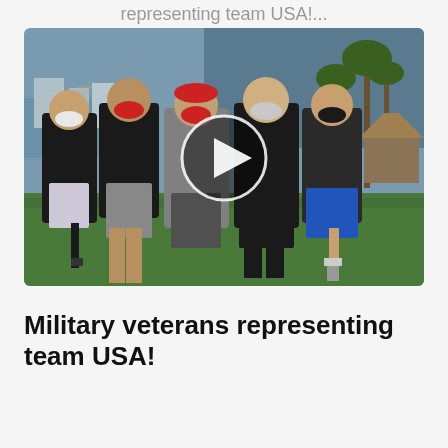representing team USA!...
[Figure (photo): Five people standing outdoors on a grassy area near a waterfront with palm trees, all wearing face masks. Two of the people have prosthetic legs. A video play button overlay is shown in the center of the image.]
Military veterans representing team USA!